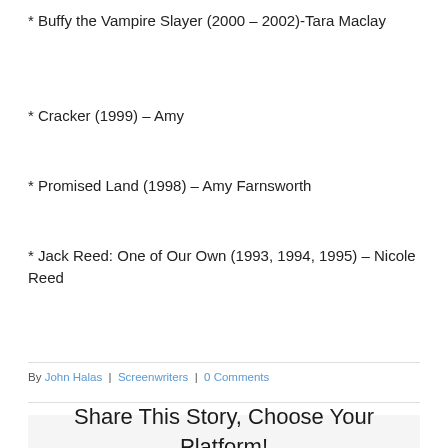* Buffy the Vampire Slayer (2000 – 2002)-Tara Maclay
* Cracker (1999) – Amy
* Promised Land (1998) – Amy Farnsworth
* Jack Reed: One of Our Own (1993, 1994, 1995) – Nicole Reed
By John Halas | Screenwriters | 0 Comments
Share This Story, Choose Your Platform!